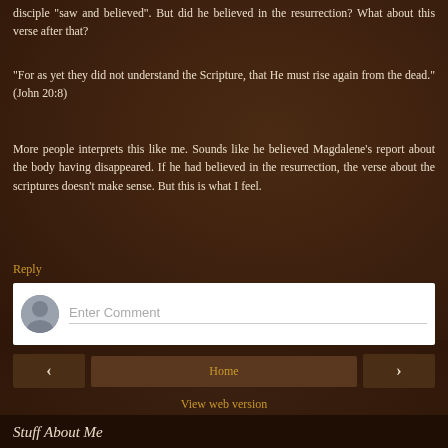disciple "saw and believed". But did he believed in the resurrection? What about this verse after that?
"For as yet they did not understand the Scripture, that He must rise again from the dead." (John 20:8)
More people interprets this like me. Sounds like he believed Magdalene's report about the body having disappeared. If he had believed in the resurrection, the verse about the scriptures doesn't make sense. But this is what I feel.
Reply
[Figure (screenshot): Comment input box with user avatar and 'Enter Comment' placeholder text]
< Home > View web version Stuff About Me